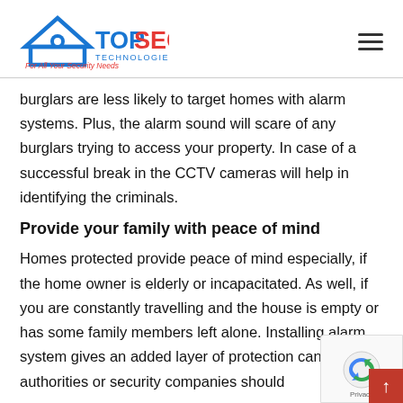TopSec Technologies - For All Your Security Needs
burglars are less likely to target homes with alarm systems. Plus, the alarm sound will scare of any burglars trying to access your property. In case of a successful break in the CCTV cameras will help in identifying the criminals.
Provide your family with peace of mind
Homes protected provide peace of mind especially, if the home owner is elderly or incapacitated. As well, if you are constantly travelling and the house is empty or has some family members left alone. Installing alarm system gives an added layer of protection can alert authorities or security companies should